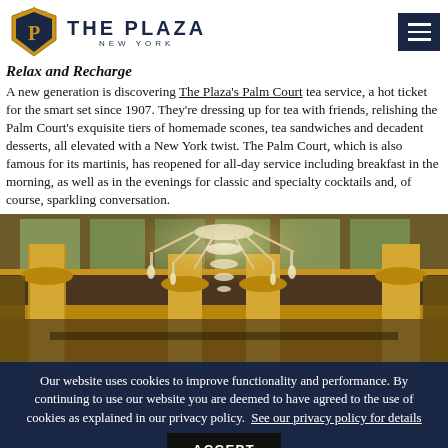THE PLAZA NEW YORK
Relax and Recharge
A new generation is discovering The Plaza's Palm Court tea service, a hot ticket for the smart set since 1907. They're dressing up for tea with friends, relishing the Palm Court's exquisite tiers of homemade scones, tea sandwiches and decadent desserts, all elevated with a New York twist. The Palm Court, which is also famous for its martinis, has reopened for all-day service including breakfast in the morning, as well as in the evenings for classic and specialty cocktails and, of course, sparkling conversation.
[Figure (photo): Interior photo of The Plaza's Palm Court showing ornate crystal chandeliers, gilded columns, and decorative stained glass ceiling.]
Our website uses cookies to improve functionality and performance. By continuing to use our website you are deemed to have agreed to the use of cookies as explained in our privacy policy. See our privacy policy for details ACCEPT